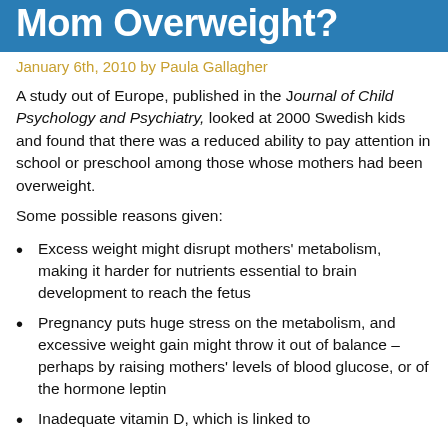Mom Overweight?
January 6th, 2010 by Paula Gallagher
A study out of Europe, published in the Journal of Child Psychology and Psychiatry, looked at 2000 Swedish kids and found that there was a reduced ability to pay attention in school or preschool among those whose mothers had been overweight.
Some possible reasons given:
Excess weight might disrupt mothers' metabolism, making it harder for nutrients essential to brain development to reach the fetus
Pregnancy puts huge stress on the metabolism, and excessive weight gain might throw it out of balance – perhaps by raising mothers' levels of blood glucose, or of the hormone leptin
Inadequate vitamin D, which is linked to…